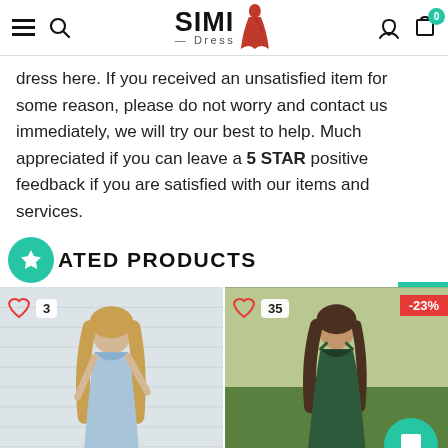SIMI Dress — header with hamburger menu, search, logo, user icon, cart (0)
dress here. If you received an unsatisfied item for some reason, please do not worry and contact us immediately, we will try our best to help. Much appreciated if you can leave a 5 STAR positive feedback if you are satisfied with our items and services.
ATED PRODUCTS
[Figure (photo): Product photo: woman in light blue deep-V dress, heart icon with count 3]
[Figure (photo): Product photo: woman in dark green satin dress, heart icon with count 35, -23% discount badge, chat button]